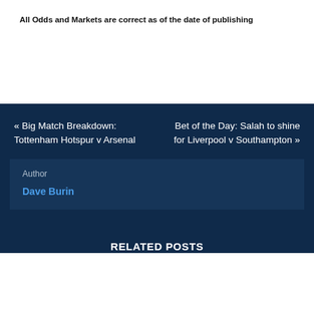All Odds and Markets are correct as of the date of publishing
« Big Match Breakdown: Tottenham Hotspur v Arsenal
Bet of the Day: Salah to shine for Liverpool v Southampton »
Author
Dave Burin
RELATED POSTS